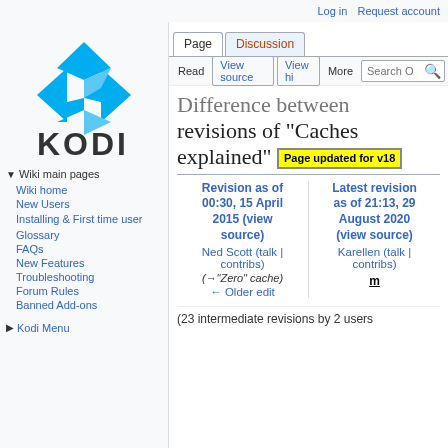Log in   Request account
[Figure (logo): Kodi logo: blue geometric diamond/arrow shape above the text KODI]
Wiki main pages
Wiki home
New Users
Installing & First time user
Glossary
FAQs
New Features
Troubleshooting
Forum Rules
Banned Add-ons
Kodi Menu
Difference between revisions of "Caches explained"  Page updated for v18
| Revision as of 00:30, 15 April 2015 (view source) | Latest revision as of 21:13, 29 August 2020 (view source) |
| --- | --- |
| Ned Scott (talk | contribs) | Karellen (talk | contribs) |
| (→"Zero" cache) | m |
| ← Older edit |  |
(23 intermediate revisions by 2 users